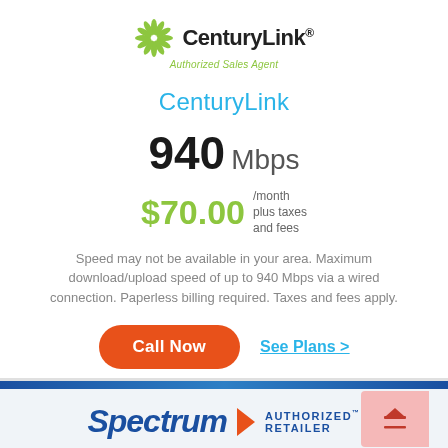[Figure (logo): CenturyLink Authorized Sales Agent logo with green sunburst icon]
CenturyLink
940 Mbps
$70.00 /month plus taxes and fees
Speed may not be available in your area. Maximum download/upload speed of up to 940 Mbps via a wired connection. Paperless billing required. Taxes and fees apply.
Call Now
See Plans >
[Figure (logo): Spectrum Authorized Retailer logo with blue wordmark and orange arrow]